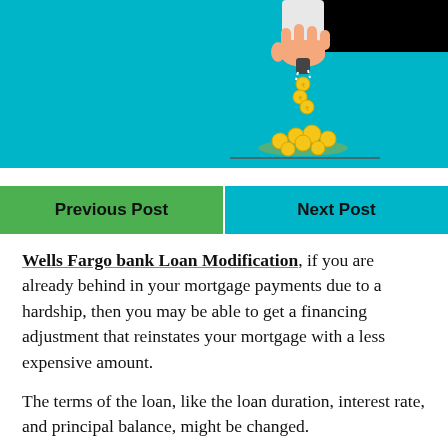[Figure (illustration): Illustration of a hand pouring gold coins against a teal background, with coins falling into a pile]
| Previous Post | Next Post |
| --- | --- |
Wells Fargo bank Loan Modification, if you are already behind in your mortgage payments due to a hardship, then you may be able to get a financing adjustment that reinstates your mortgage with a less expensive amount.
The terms of the loan, like the loan duration, interest rate, and principal balance, might be changed.
Loan adjustments are a lifesaver for all those that get them. Sadly, many Wells Fargo borrowers end up